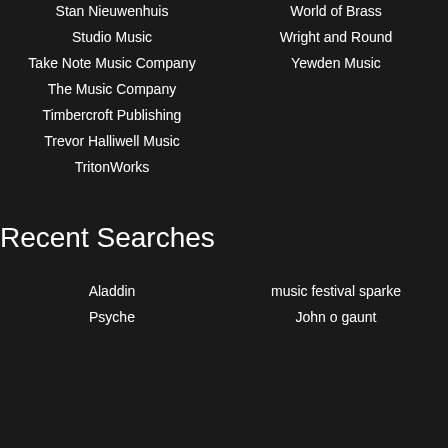Stan Nieuwenhuis
World of Brass
Studio Music
Wright and Round
Take Note Music Company
Yewden Music
The Music Company
Timbercroft Publishing
Trevor Halliwell Music
TritonWorks
Recent Searches
Aladdin
music festival sparke
Psyche
John o gaunt